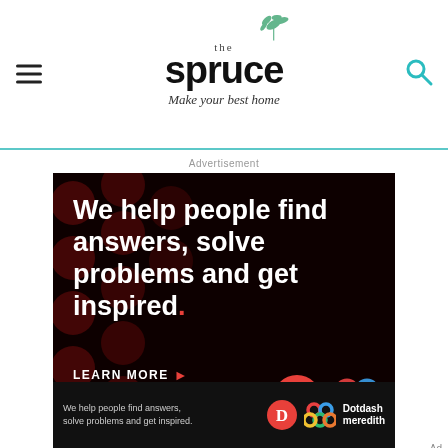the spruce — Make your best home
Advertisement
[Figure (infographic): Dotdash Meredith advertisement on dark background with polka dot pattern. Text reads: We help people find answers, solve problems and get inspired. LEARN MORE. Shows Dotdash D logo and Dotdash Meredith knot logo.]
[Figure (infographic): Bottom sticky Dotdash Meredith ad banner. Text: We help people find answers, solve problems and get inspired. Dotdash Meredith logos on right.]